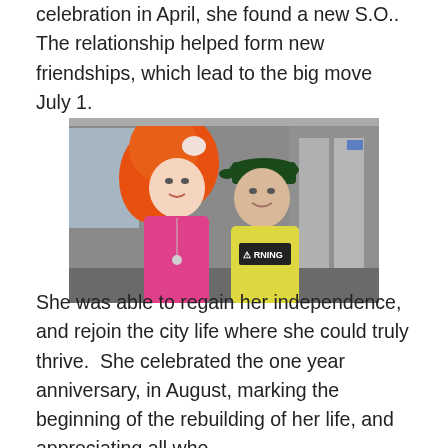celebration in April, she found a new S.O.. The relationship helped form new friendships, which lead to the big move July 1.
[Figure (photo): A couple posing together on what appears to be a subway or train car. A woman with bright orange/red hair wearing a pink top and a man wearing a yellow t-shirt with a warning label graphic and a dark green cap.]
She was able to regain her independence, and rejoin the city life where she could truly thrive. She celebrated the one year anniversary, in August, marking the beginning of the rebuilding of her life, and appreciating all who